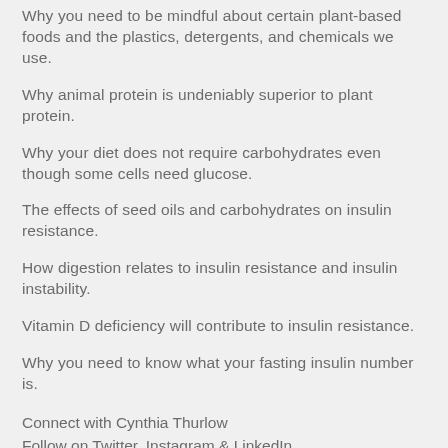Why you need to be mindful about certain plant-based foods and the plastics, detergents, and chemicals we use.
Why animal protein is undeniably superior to plant protein.
Why your diet does not require carbohydrates even though some cells need glucose.
The effects of seed oils and carbohydrates on insulin resistance.
How digestion relates to insulin resistance and insulin instability.
Vitamin D deficiency will contribute to insulin resistance.
Why you need to know what your fasting insulin number is.
Connect with Cynthia Thurlow
Follow on Twitter, Instagram & LinkedIn